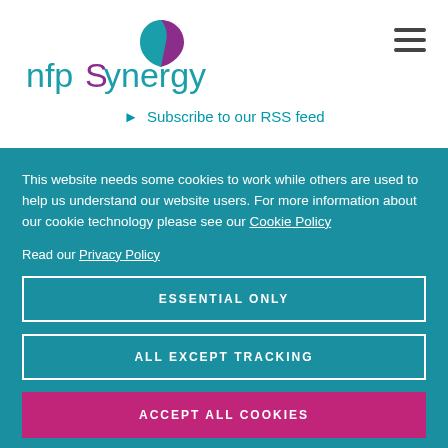[Figure (logo): nfpSynergy logo with teal and purple text and a circular purple/teal icon]
Subscribe to our RSS feed
This website needs some cookies to work while others are used to help us understand our website users. For more information about our cookie technology please see our Cookie Policy
Read our Privacy Policy
ESSENTIAL ONLY
ALL EXCEPT TRACKING
ACCEPT ALL COOKIES